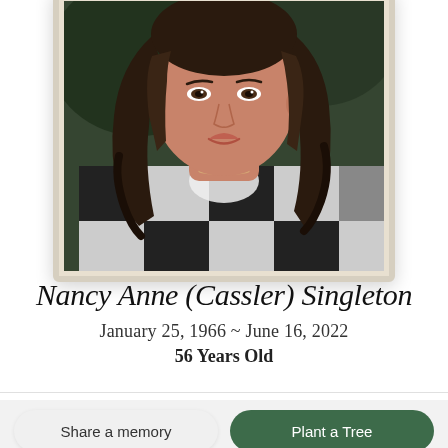[Figure (photo): Portrait photo of Nancy Anne (Cassler) Singleton, a woman with dark brown hair wearing a black, white, and grey plaid/checkered shirt, shown from roughly shoulder level up, photographed outdoors.]
Nancy Anne (Cassler) Singleton
January 25, 1966 ~ June 16, 2022
56 Years Old
Obituary & Services
Tribute Wall 5
Share a memory
Plant a Tree